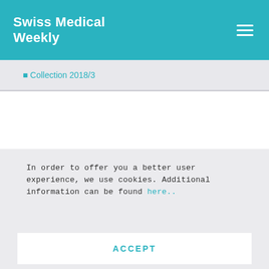Swiss Medical Weekly
Collection 2018/3
Copyright
[Figure (logo): Creative Commons license icons (CC BY-NC-ND)]
In order to offer you a better user experience, we use cookies. Additional information can be found here..
ACCEPT